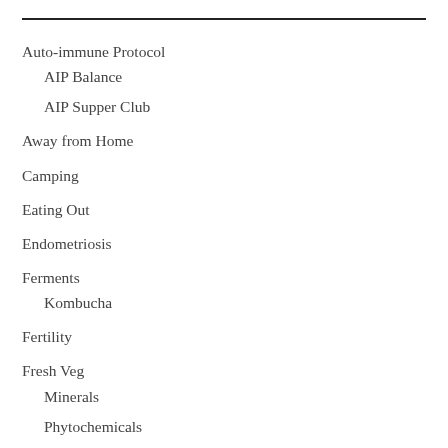Auto-immune Protocol
AIP Balance
AIP Supper Club
Away from Home
Camping
Eating Out
Endometriosis
Ferments
Kombucha
Fertility
Fresh Veg
Minerals
Phytochemicals
Vitamins
Gluten Free